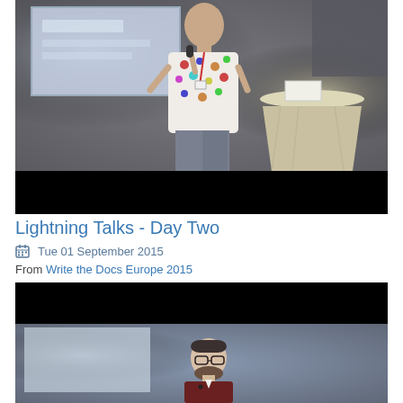[Figure (photo): Video thumbnail showing a man in a colorful patterned shirt speaking on a conference stage with a presentation screen behind him and a draped table to the right]
Lightning Talks - Day Two
Tue 01 September 2015
From Write the Docs Europe 2015
[Figure (photo): Second video thumbnail showing a dark upper bar and a man with glasses and beard speaking at a conference]